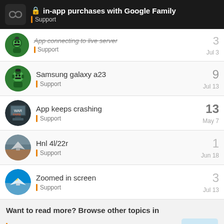in-app purchases with Google Family | Support
App connecting to live server — Support — Jul 3 — 3 replies
Samsung galaxy a23 — Support — Jul 13 — 9 replies
App keeps crashing — Support — May 7 — 13 replies
Hnl 4l/22r — Support — Jun 18 — 1 reply
Zoomed in screen — Support — Jul 13 — 3 replies
Want to read more? Browse other topics in
Support or view latest topics. 5 / 7